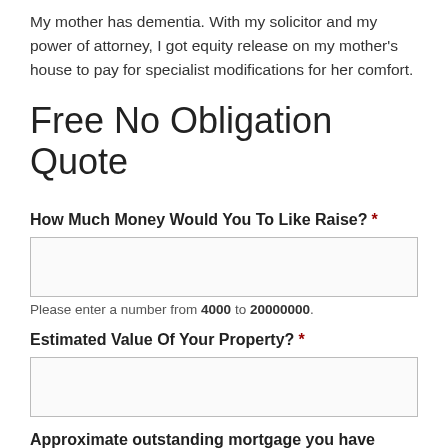My mother has dementia. With my solicitor and my power of attorney, I got equity release on my mother's house to pay for specialist modifications for her comfort.
Free No Obligation Quote
How Much Money Would You To Like Raise?  *
Please enter a number from 4000 to 20000000.
Estimated Value Of Your Property?  *
Approximate outstanding mortgage you have